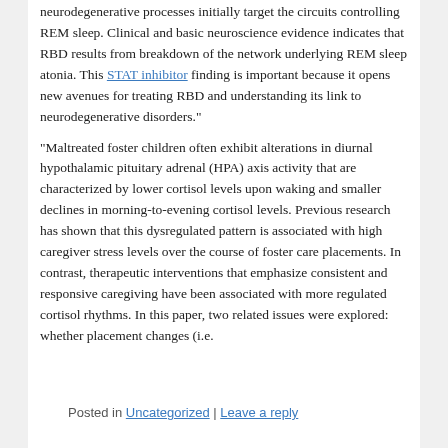neurodegenerative processes initially target the circuits controlling REM sleep. Clinical and basic neuroscience evidence indicates that RBD results from breakdown of the network underlying REM sleep atonia. This STAT inhibitor finding is important because it opens new avenues for treating RBD and understanding its link to neurodegenerative disorders."
“Maltreated foster children often exhibit alterations in diurnal hypothalamic pituitary adrenal (HPA) axis activity that are characterized by lower cortisol levels upon waking and smaller declines in morning-to-evening cortisol levels. Previous research has shown that this dysregulated pattern is associated with high caregiver stress levels over the course of foster care placements. In contrast, therapeutic interventions that emphasize consistent and responsive caregiving have been associated with more regulated cortisol rhythms. In this paper, two related issues were explored: whether placement changes (i.e.
Posted in Uncategorized | Leave a reply